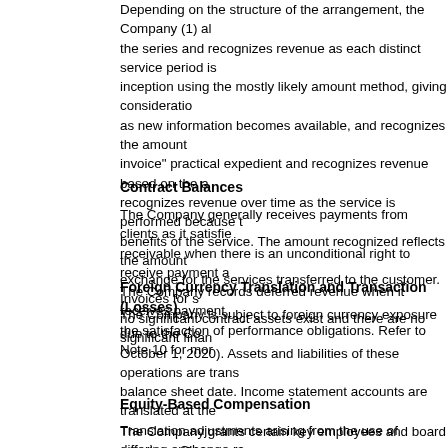Depending on the structure of the arrangement, the Company (1) al the series and recognizes revenue as each distinct service period is inception using the mostly likely amount method, giving consideratio as new information becomes available, and recognizes the amount invoice" practical expedient and recognizes revenue based on the a recognizes revenue over time as the service is performed because t benefits of the service. The amount recognized reflects the amount exchange for the services transferred to the customer. Invoices for s no significant contract assets exist and there are no significant finan
Contract Balances
The Company generally receives payments from clients as it satisfie receivable when there is an unconditional right to receive payment a The Company records deferred revenue when it receives payment, the satisfaction of performance obligations. Refer to Note 10 for mor
Foreign Currency Translation and Transaction (Losses)
The Company is subject to foreign currency exposure due to the Co October 1, 2020). Assets and liabilities of these operations are trans balance sheet date. Income statement accounts are translated at the Translation adjustments arising from the use of differing exchange ra members' equity in accumulated other comprehensive income (loss) currency transactions are recognized in other expense (income), ne
Equity-Based Compensation
The Company grants certain key employees and board members Ch provisions of the Company's agreement and separate equity award to employees in accordance with ASC 718, Compensation—Stock C